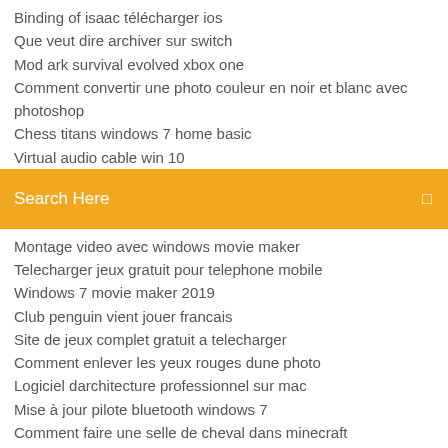Binding of isaac télécharger ios
Que veut dire archiver sur switch
Mod ark survival evolved xbox one
Comment convertir une photo couleur en noir et blanc avec photoshop
Chess titans windows 7 home basic
Virtual audio cable win 10
[Figure (screenshot): Orange search bar with text 'Search Here' and a search icon on the right]
Montage video avec windows movie maker
Telecharger jeux gratuit pour telephone mobile
Windows 7 movie maker 2019
Club penguin vient jouer francais
Site de jeux complet gratuit a telecharger
Comment enlever les yeux rouges dune photo
Logiciel darchitecture professionnel sur mac
Mise à jour pilote bluetooth windows 7
Comment faire une selle de cheval dans minecraft
Télécharger easycap driver for windows 7 32 bit